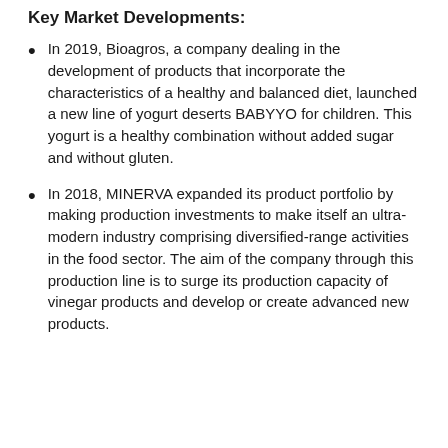Key Market Developments:
In 2019, Bioagros, a company dealing in the development of products that incorporate the characteristics of a healthy and balanced diet, launched a new line of yogurt deserts BABYYO for children. This yogurt is a healthy combination without added sugar and without gluten.
In 2018, MINERVA expanded its product portfolio by making production investments to make itself an ultra-modern industry comprising diversified-range activities in the food sector. The aim of the company through this production line is to surge its production capacity of vinegar products and develop or create advanced new products.